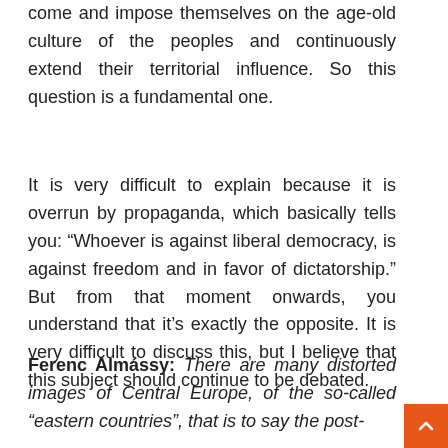come and impose themselves on the age-old culture of the peoples and continuously extend their territorial influence. So this question is a fundamental one.
It is very difficult to explain because it is overrun by propaganda, which basically tells you: "Whoever is against liberal democracy, is against freedom and in favor of dictatorship." But from that moment onwards, you understand that it's exactly the opposite. It is very difficult to discuss this, but I believe that this subject should continue to be debated.
Ferenc Almássy: There are many distorted images of Central Europe, of the so-called "eastern countries", that is to say the post-